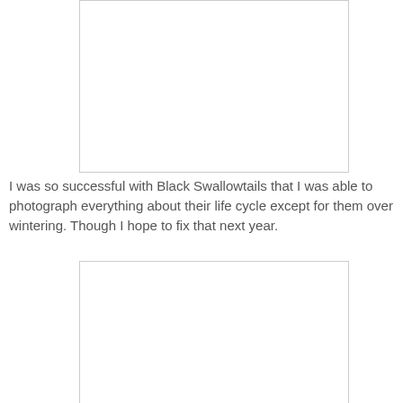[Figure (photo): Blank/white photo placeholder at top of page]
I was so successful with Black Swallowtails that I was able to photograph everything about their life cycle except for them over wintering. Though I hope to fix that next year.
[Figure (photo): Blank/white photo placeholder at bottom of page]